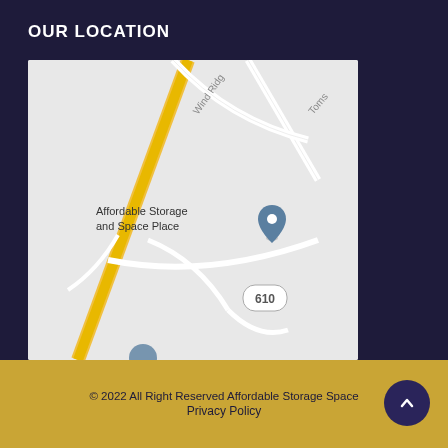OUR LOCATION
[Figure (map): Google Maps screenshot showing location of Affordable Storage and Space Place with a pin marker, near route 610, Wind Ridge road intersection with yellow road and white roads visible]
Proudly serving the greater Charlottesville area
© 2022 All Right Reserved Affordable Storage Space
Privacy Policy